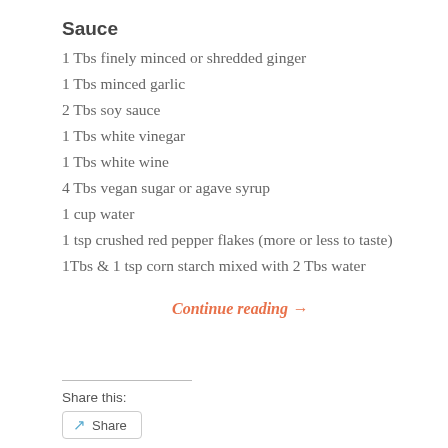Sauce
1 Tbs finely minced or shredded ginger
1 Tbs minced garlic
2 Tbs soy sauce
1 Tbs white vinegar
1 Tbs white wine
4 Tbs vegan sugar or agave syrup
1 cup water
1 tsp crushed red pepper flakes (more or less to taste)
1Tbs & 1 tsp corn starch mixed with 2 Tbs water
Continue reading →
Share this:
Share